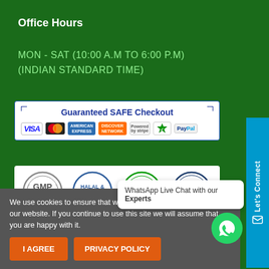Office Hours
MON - SAT (10:00 A.M TO 6:00 P.M)
(INDIAN STANDARD TIME)
[Figure (infographic): Guaranteed SAFE Checkout banner with payment logos: VISA, MasterCard, American Express, Discover, Stripe, Verified, PayPal]
[Figure (infographic): Certification badges: GMP, HACCP, Halal, ISO]
We use cookies to ensure that we give you the best experience on our website. If you continue to use this site we will assume that you are happy with it.
I AGREE
PRIVACY POLICY
WhatsApp Live Chat with our Experts
Let's Connect